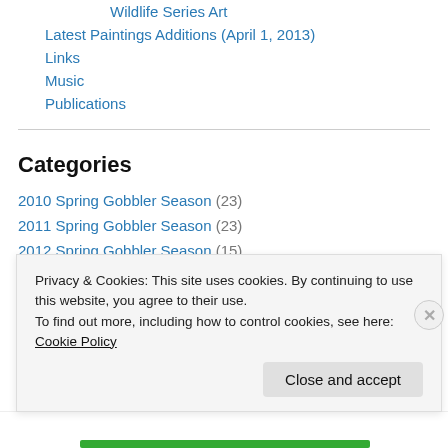Wildlife Series Art
Latest Paintings Additions (April 1, 2013)
Links
Music
Publications
Categories
2010 Spring Gobbler Season (23)
2011 Spring Gobbler Season (23)
2012 Spring Gobbler Season (15)
2013 Spring Gobbler Season (11)
2014 Spring Gobbler Season (9)
Privacy & Cookies: This site uses cookies. By continuing to use this website, you agree to their use. To find out more, including how to control cookies, see here: Cookie Policy
Close and accept